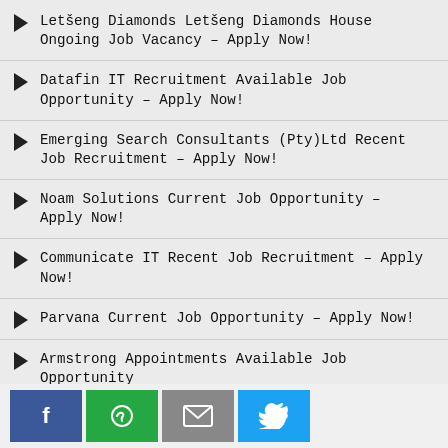Letšeng Diamonds Letšeng Diamonds House Ongoing Job Vacancy – Apply Now!
Datafin IT Recruitment Available Job Opportunity – Apply Now!
Emerging Search Consultants (Pty)Ltd Recent Job Recruitment – Apply Now!
Noam Solutions Current Job Opportunity – Apply Now!
Communicate IT Recent Job Recruitment – Apply Now!
Parvana Current Job Opportunity – Apply Now!
Armstrong Appointments Available Job Opportunity